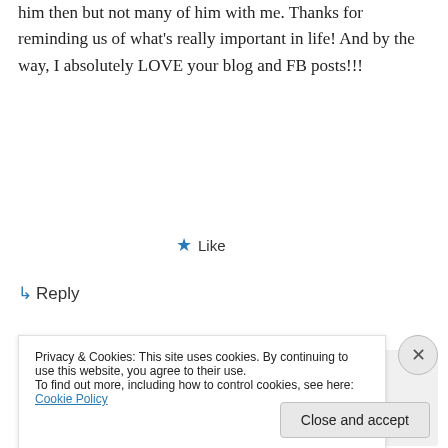him then but not many of him with me. Thanks for reminding us of what's really important in life! And by the way, I absolutely LOVE your blog and FB posts!!!
★ Like
↳ Reply
Sasha on July 10, 2013 at 10:54 am
Oh, send that baby some pics of his
Privacy & Cookies: This site uses cookies. By continuing to use this website, you agree to their use. To find out more, including how to control cookies, see here: Cookie Policy
Close and accept